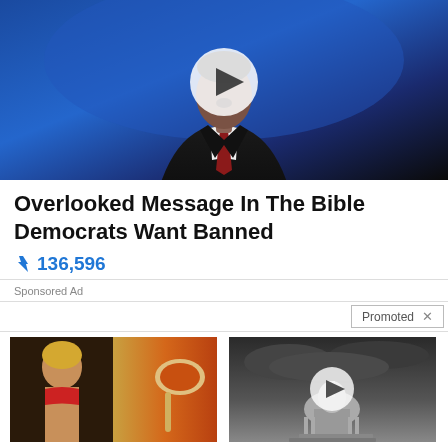[Figure (photo): Video thumbnail showing a man in a dark suit and red tie speaking at a podium, with a blue background. A white play button circle is overlaid in the center.]
Overlooked Message In The Bible Democrats Want Banned
🔥 136,596
Sponsored Ad
Promoted ×
[Figure (photo): Split image showing a muscular woman on the left and a spoon with orange spice powder on the right.]
A Teaspoon On An Empty Stomach Burns Fat Like Crazy!
🔥 123,669
[Figure (photo): Black and white photo of the US Capitol building with dramatic cloudy sky, a white play button circle overlaid in the center.]
Will The Rich Get Richer With Biden's New Executive Order?
🔥 542